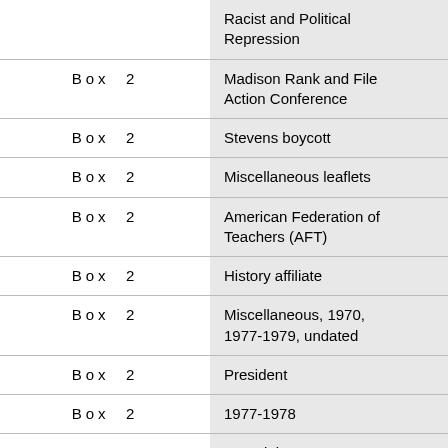| Box | Description |
| --- | --- |
| Box  2 | Racist and Political Repression |
| Box  2 | Madison Rank and File Action Conference |
| Box  2 | Stevens boycott |
| Box  2 | Miscellaneous leaflets |
| Box  2 | American Federation of Teachers (AFT) |
| Box  2 | History affiliate |
| Box  2 | Miscellaneous, 1970, 1977-1979, undated |
| Box  2 | President |
| Box  2 | 1977-1978 |
| Box  2 | Bargaining, 1977 |
| Box  2 | American Federation of Teachers (AFT) convention, 1978 |
| Box  2 | AFT, United Action Caucus (UAC) |
| Box  2 | Madison Federation of |